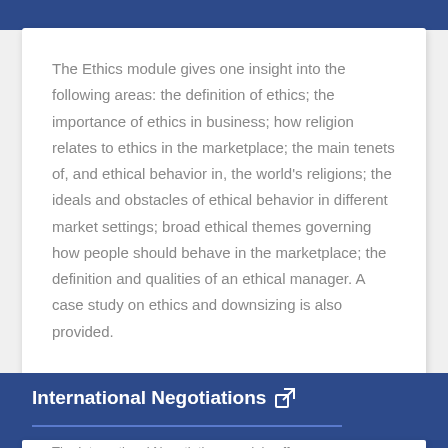The Ethics module gives one insight into the following areas: the definition of ethics; the importance of ethics in business; how religion relates to ethics in the marketplace; the main tenets of, and ethical behavior in, the world's religions; the ideals and obstacles of ethical behavior in different market settings; broad ethical themes governing how people should behave in the marketplace; the definition and qualities of an ethical manager. A case study on ethics and downsizing is also provided.
International Negotiations